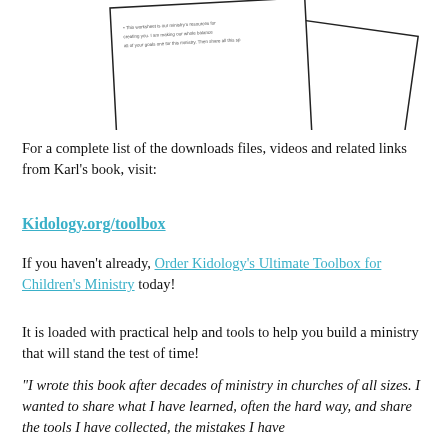[Figure (illustration): Two overlapping paper cards/notes shown at slight angles, with small printed text visible on them, suggesting worksheets or notecards from a book.]
For a complete list of the downloads files, videos and related links from Karl's book, visit:
Kidology.org/toolbox
If you haven't already, Order Kidology's Ultimate Toolbox for Children's Ministry today!
It is loaded with practical help and tools to help you build a ministry that will stand the test of time!
"I wrote this book after decades of ministry in churches of all sizes. I wanted to share what I have learned, often the hard way, and share the tools I have collected, the mistakes I have